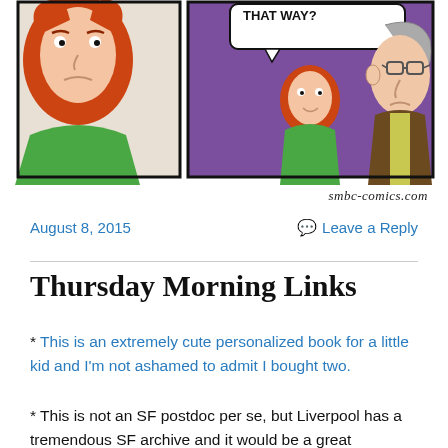[Figure (illustration): SMBC webcomic panel showing a red-haired woman looking concerned on the left, and a child with red hair talking to an older man with glasses on the right against a purple background. Speech bubble reads 'THAT WAY?']
smbc-comics.com
August 8, 2015
Leave a Reply
Thursday Morning Links
* This is an extremely cute personalized book for a little kid and I'm not ashamed to admit I bought two.
* This is not an SF postdoc per se, but Liverpool has a tremendous SF archive and it would be a great opportunity